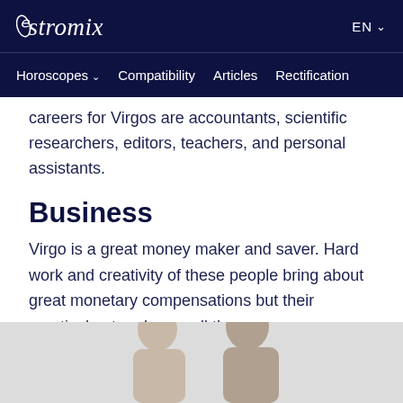Astromix — EN
Horoscopes  Compatibility  Articles  Rectification
careers for Virgos are accountants, scientific researchers, editors, teachers, and personal assistants.
Business
Virgo is a great money maker and saver. Hard work and creativity of these people bring about great monetary compensations but their practical nature keeps all the expenses consistent. They can be excellent long-term partners and develop great projects from scratch too.
[Figure (photo): Photo of a woman and a man, partial view, light grey background, cropped at bottom of page]